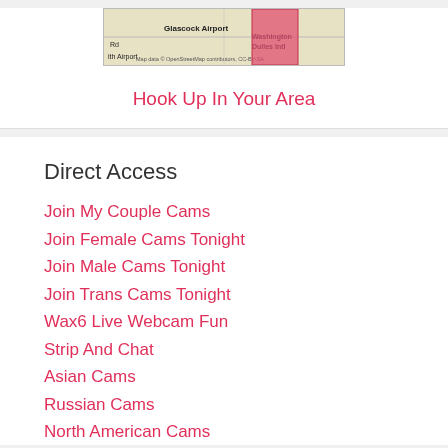[Figure (map): Map snippet showing Glascock Airport, Washington Dulles Intl airport area, with OpenStreetMap attribution and an overlaid image of a woman in red]
Hook Up In Your Area
Direct Access
Join My Couple Cams
Join Female Cams Tonight
Join Male Cams Tonight
Join Trans Cams Tonight
Wax6 Live Webcam Fun
Strip And Chat
Asian Cams
Russian Cams
North American Cams